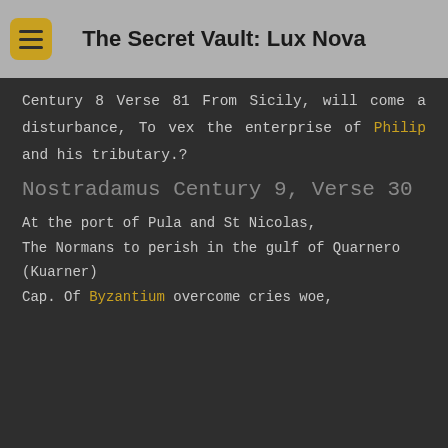The Secret Vault: Lux Nova
Century 8 Verse 81 From Sicily, will come a disturbance, To vex the enterprise of Philip and his tributary.?
Nostradamus Century 9, Verse 30
At the port of Pula and St Nicolas, The Normans to perish in the gulf of Quarnero (Kuarner) Cap. Of Byzantium overcome cries woe,